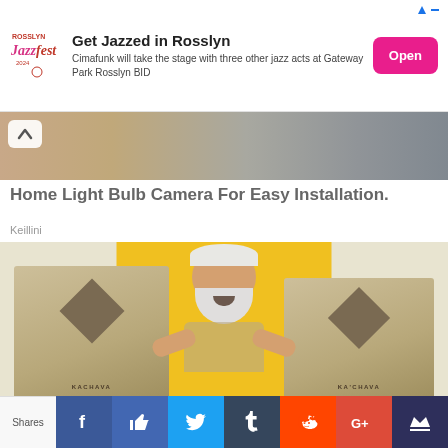[Figure (infographic): Rosslyn JazzFest advertisement banner with logo, text about Cimafunk at Gateway Park Rosslyn BID, and an Open button]
Get Jazzed in Rosslyn
Cimafunk will take the stage with three other jazz acts at Gateway Park Rosslyn BID
[Figure (photo): Close-up photo of hands and keyboard, partially visible with a chevron/up arrow button overlay]
Home Light Bulb Camera For Easy Installation.
Keillini
[Figure (photo): Photo of a laughing elderly man with white beard holding up two Kachava product bags in front of a yellow background]
Shares
[Figure (infographic): Social sharing bar with Facebook, Like, Twitter, Tumblr, Reddit, Google+, and Crown/Crumbs icons]